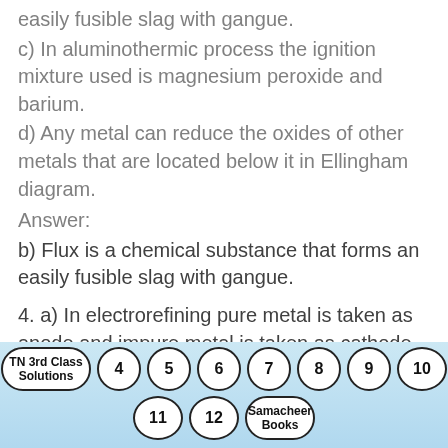easily fusible slag with gangue.
c) In aluminothermic process the ignition mixture used is magnesium peroxide and barium.
d) Any metal can reduce the oxides of other metals that are located below it in Ellingham diagram.
Answer:
b) Flux is a chemical substance that forms an easily fusible slag with gangue.
4. a) In electrorefining pure metal is taken as anode and impure metal is taken as cathode.
TN 3rd Class Solutions  4  5  6  7  8  9  10  11  12  Samacheer Books